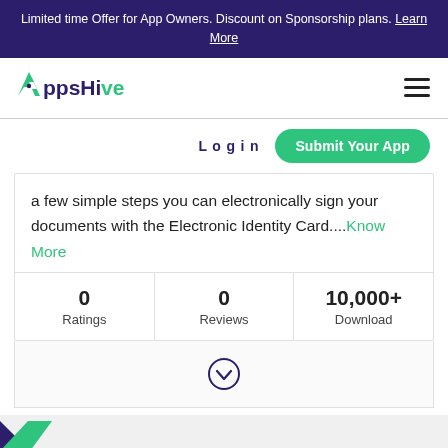Limited time Offer for App Owners. Discount on Sponsorship plans. Learn More
[Figure (logo): AppsHive logo with green arrow/honeycomb icon and dark text]
Log in
Submit Your App
a few simple steps you can electronically sign your documents with the Electronic Identity Card....Know More
| Ratings | Reviews | Download |
| --- | --- | --- |
| 0 | 0 | 10,000+ |
[Figure (other): Chevron down circle button]
[Figure (other): Partial blue/green shape at bottom left corner]